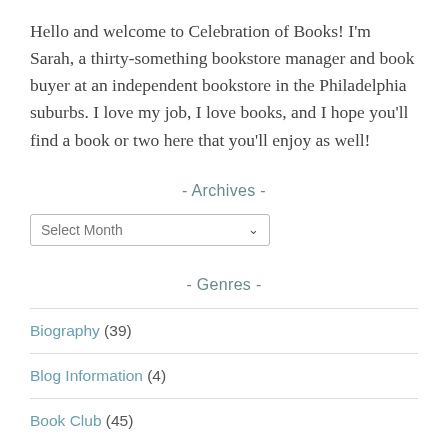Hello and welcome to Celebration of Books! I'm Sarah, a thirty-something bookstore manager and book buyer at an independent bookstore in the Philadelphia suburbs. I love my job, I love books, and I hope you'll find a book or two here that you'll enjoy as well!
- Archives -
[Figure (other): A dropdown select box labeled 'Select Month' with a chevron arrow on the right]
- Genres -
Biography (39)
Blog Information (4)
Book Club (45)